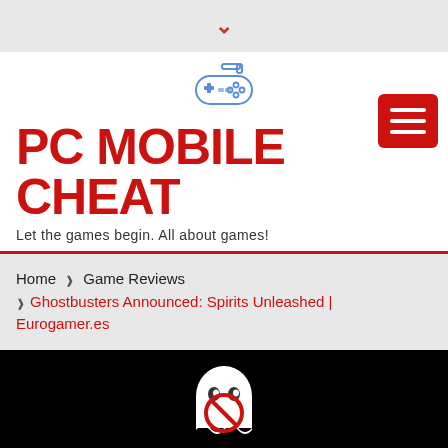▼
[Figure (logo): Game controller icon in blue/gray line art style]
PC MOBILE CHEAT
Let the games begin. All about games!
[Figure (other): Hamburger menu button (three white lines on red background)]
Home ❯ Game Reviews ❯ Ghostbusters Announced: Spirits Unleashed | Eurogamer.es
[Figure (photo): Black background with Ghostbusters ghost logo (white ghost with red circle and slash)]